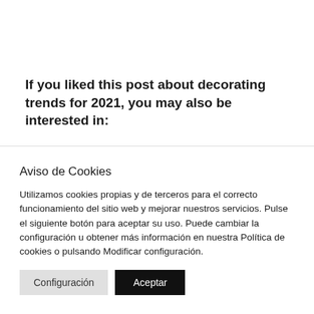If you liked this post about decorating trends for 2021, you may also be interested in:
Aviso de Cookies
Utilizamos cookies propias y de terceros para el correcto funcionamiento del sitio web y mejorar nuestros servicios. Pulse el siguiente botón para aceptar su uso. Puede cambiar la configuración u obtener más información en nuestra Política de cookies o pulsando Modificar configuración.